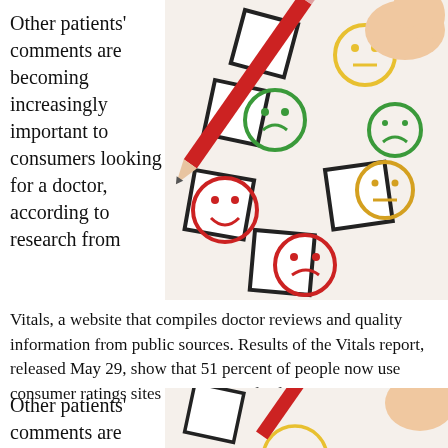Other patients' comments are becoming increasingly important to consumers looking for a doctor, according to research from
[Figure (photo): A hand holding a red pencil pointing at checkboxes on a survey form with smiley face emoticons (happy, neutral, sad) in red, green, and yellow/orange colors.]
Vitals, a website that compiles doctor reviews and quality information from public sources. Results of the Vitals report, released May 29, show that 51 percent of people now use consumer ratings sites as a source of information.
Other patients' comments are becoming
[Figure (photo): Partial repeat of the survey/checklist image with emoticons and a red pencil, cropped at bottom.]